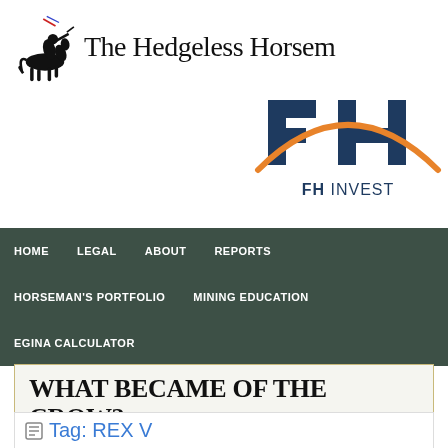[Figure (logo): The Hedgeless Horseman logo with horseman silhouette icon and text]
[Figure (logo): FH Invest logo with stylized FH letters and orange arc]
[Figure (screenshot): Navigation bar with dark green background containing HOME, LEGAL, ABOUT, REPORTS, HORSEMAN'S PORTFOLIO, MINING EDUCATION, EGINA CALCULATOR menu items]
WHAT BECAME OF THE CROW?
Tag: REX V